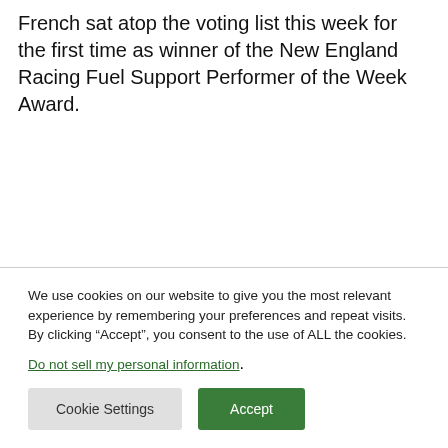French sat atop the voting list this week for the first time as winner of the New England Racing Fuel Support Performer of the Week Award.
We use cookies on our website to give you the most relevant experience by remembering your preferences and repeat visits. By clicking “Accept”, you consent to the use of ALL the cookies.
Do not sell my personal information.